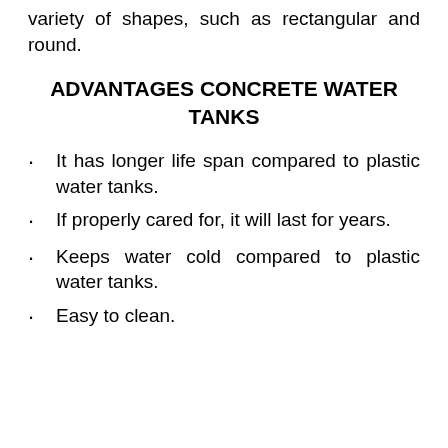variety of shapes, such as rectangular and round.
ADVANTAGES CONCRETE WATER TANKS
It has longer life span compared to plastic water tanks.
If properly cared for, it will last for years.
Keeps water cold compared to plastic water tanks.
Easy to clean.